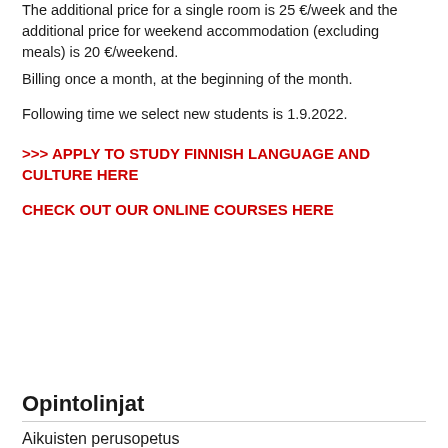The additional price for a single room is 25 €/week and the additional price for weekend accommodation (excluding meals) is 20 €/weekend.
Billing once a month, at the beginning of the month.
Following time we select new students is 1.9.2022.
>>> APPLY TO STUDY FINNISH LANGUAGE AND CULTURE HERE
CHECK OUT OUR ONLINE COURSES HERE
Opintolinjat
Aikuisten perusopetus